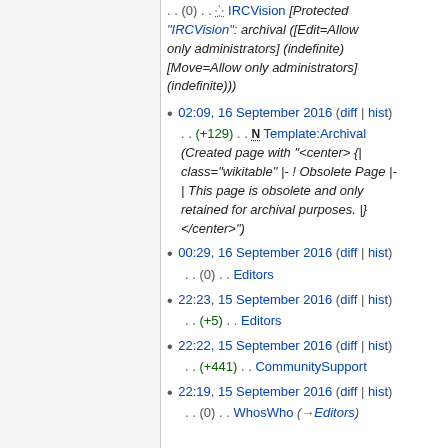.. (0) .. IRCVision [Protected "IRCVision": archival ([Edit=Allow only administrators] (indefinite) [Move=Allow only administrators] (indefinite)))
02:09, 16 September 2016 (diff | hist) .. (+129) .. N Template:Archival (Created page with "<center> {| class="wikitable" |- ! Obsolete Page |- | This page is obsolete and only retained for archival purposes. |} </center>")
00:29, 16 September 2016 (diff | hist) .. (0) .. Editors
22:23, 15 September 2016 (diff | hist) .. (+5) .. Editors
22:22, 15 September 2016 (diff | hist) .. (+441) .. CommunitySupport
22:19, 15 September 2016 (diff | hist) .. (0) .. WhosWho (→Editors)